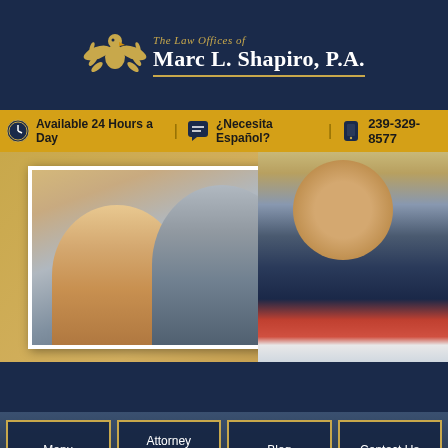The Law Offices of Marc L. Shapiro, P.A.
Available 24 Hours a Day | ¿Necesita Español? | 239-329-8577
[Figure (photo): Photo of an elderly couple smiling, overlaid with a photo of attorney Marc L. Shapiro in a dark suit and red tie against a gold background]
The Shapiro Difference
Menu
Attorney Profiles
Blog
Contact Us